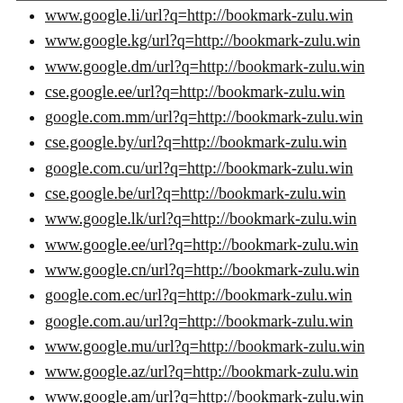www.google.li/url?q=http://bookmark-zulu.win
www.google.kg/url?q=http://bookmark-zulu.win
www.google.dm/url?q=http://bookmark-zulu.win
cse.google.ee/url?q=http://bookmark-zulu.win
google.com.mm/url?q=http://bookmark-zulu.win
cse.google.by/url?q=http://bookmark-zulu.win
google.com.cu/url?q=http://bookmark-zulu.win
cse.google.be/url?q=http://bookmark-zulu.win
www.google.lk/url?q=http://bookmark-zulu.win
www.google.ee/url?q=http://bookmark-zulu.win
www.google.cn/url?q=http://bookmark-zulu.win
google.com.ec/url?q=http://bookmark-zulu.win
google.com.au/url?q=http://bookmark-zulu.win
www.google.mu/url?q=http://bookmark-zulu.win
www.google.az/url?q=http://bookmark-zulu.win
www.google.am/url?q=http://bookmark-zulu.win
cse.google.cg/url?q=http://bookmark-zulu.win
google.com.af/url?q=http://bookmark-zulu.win
www.google.cr/url?q=http://bookmark-zulu.win